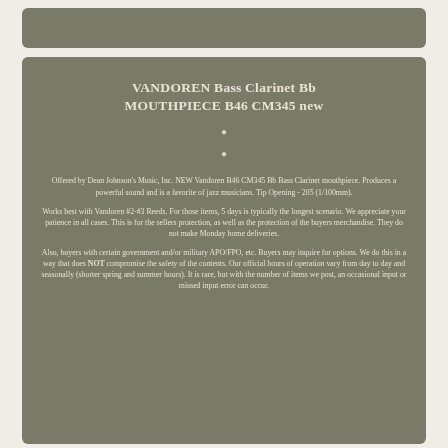VANDOREN Bass Clarinet Bb MOUTHPIECE B46 CM345 new
•
•
Offered by Dean Johnson's Music, Inc. NEW Vandoren B46 CM345 Bb Bass Clarinet mouthpiece. Produces a powerful sound and is a favorite of jazz musicians. Tip Opening - 205 (1/100mm).
Works best with Vandoren #2-#3 Reeds. For those items, 5 days is typically the longest scenario. We appreciate your patience in all cases. This is for the sellers protection, as well as the protection of the buyers merchandise. They do not make Monday home deliveries.
Also, buyers with certain government and/or military APO/FPO, etc. Buyers may inquire for options. We do this in a way that does NOT compromise the safety of the contents. Our official hours of operation vary from day to day and seasonally (shorter spring and summer hours). It is rare, but with the number of items we post, an occasional input or missed input error can occur.